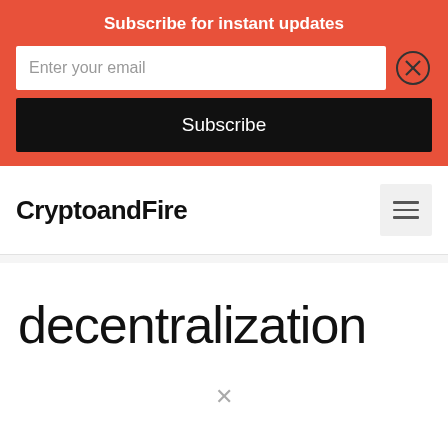Subscribe for instant updates
Enter your email
Subscribe
CryptoandFire
decentralization